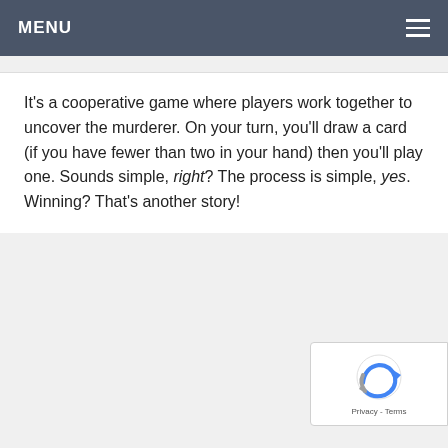MENU
It's a cooperative game where players work together to uncover the murderer. On your turn, you'll draw a card (if you have fewer than two in your hand) then you'll play one. Sounds simple, right? The process is simple, yes. Winning? That's another story!
[Figure (logo): reCAPTCHA badge with stylized arrow/recycle icon and 'Privacy - Terms' text]